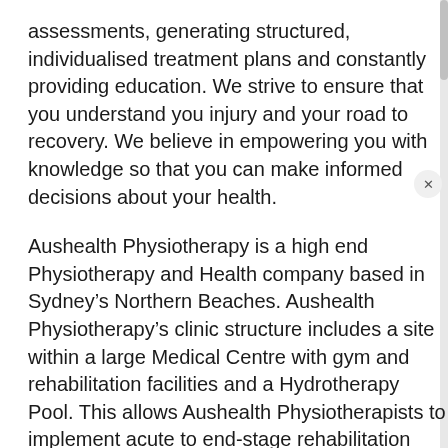assessments, generating structured, individualised treatment plans and constantly providing education. We strive to ensure that you understand you injury and your road to recovery. We believe in empowering you with knowledge so that you can make informed decisions about your health.
Aushealth Physiotherapy is a high end Physiotherapy and Health company based in Sydney's Northern Beaches. Aushealth Physiotherapy's clinic structure includes a site within a large Medical Centre with gym and rehabilitation facilities and a Hydrotherapy Pool. This allows Aushealth Physiotherapists to implement acute to end-stage rehabilitation following injury or surgery.
Aushealth Physiotherapy is fast becoming an icon on the Northern Beaches. Our initial research found a large gap in the delivery of total rehabilitation...